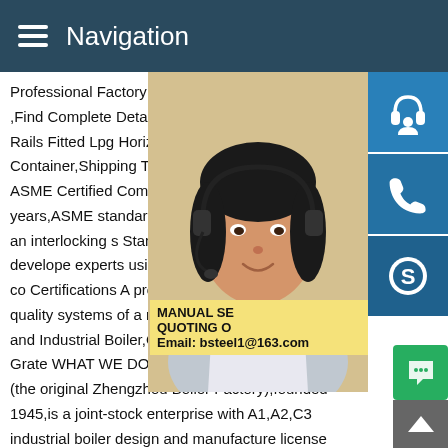Navigation
Professional Factory Supply Top Side Rail Tank ,Find Complete Details about Professional Top Side Rails Fitted Lpg Horizontal Tank, Portable Tank Container,Shipping Tank from Supplier orLocate ASME Certified Company. For more than 100 years,ASME standards and certifications have formed an interlocking s... Standards A set of requirements developed by experts using an open and transparent co... Certifications A program built upon the saf... the quality systems of a manufacturer are assessed and Industrial Boiler,Oil Gas fired boilers,Chain Grate WHAT WE DO.Zhengzhou Boiler Co.,Ltd (the original Zhengzhou Boiler Factory),founded 1945,is a joint-stock enterprise with A1,A2,C3 industrial boiler design and manufacture license permits.70 years' experience pressure vessel design and manufacturing has rewarded us w...
[Figure (photo): Woman with headset, customer service representative]
[Figure (infographic): Three blue icon buttons: headset/support, phone, Skype]
MANUAL SE... QUOTING O... Email: bsteel1@163.com